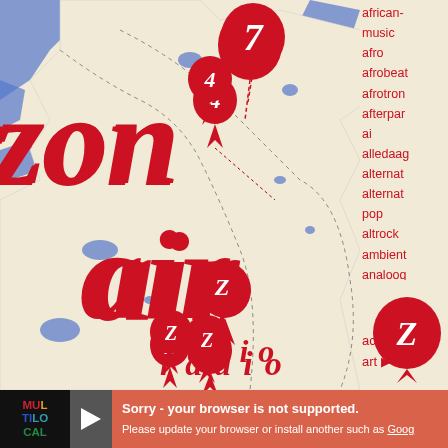[Figure (screenshot): Screenshot of a web page showing a map-based radio broadcasting interface called 'Zonaïr radio'. The page features a cream/beige background map of what appears to be Belgium/Netherlands region with blue water bodies. Large red italic letters 'zon' and 'air' overlay the map along with the word 'radio'. Red map pin markers with 'Z' letters are placed on various locations. A right sidebar shows a list of music tags in red text. The bottom shows a browser error bar in salmon/red color.]
zonaïr radio
Agenda Uitzendingen
african-music
afro
afrobeat
afrotron
afterpar
ai
alledaag
alternat
alternat
pop
altrock
ambient
analoog
anders
itec
academy
art
Sorry - your browser is not supported. Please update your browser or install another such as Goog